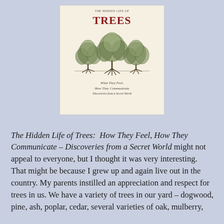[Figure (illustration): Book cover of 'The Hidden Life of Trees' showing title in red/brown, an illustration of three trees with root systems visible, and subtitle text 'What They Feel, How They Communicate — Discoveries from a Secret World' on a cream/beige background.]
The Hidden Life of Trees:  How They Feel, How They Communicate – Discoveries from a Secret World might not appeal to everyone, but I thought it was very interesting. That might be because I grew up and again live out in the country. My parents instilled an appreciation and respect for trees in us. We have a variety of trees in our yard – dogwood, pine, ash, poplar, cedar, several varieties of oak, mulberry,